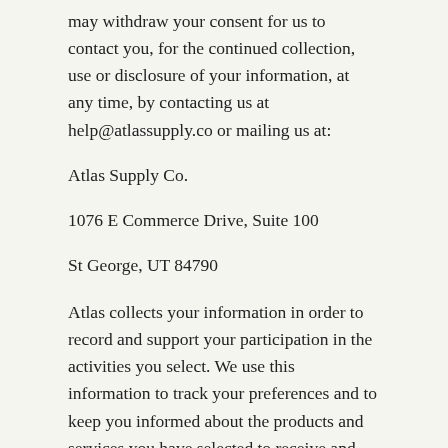may withdraw your consent for us to contact you, for the continued collection, use or disclosure of your information, at any time, by contacting us at help@atlassupply.co or mailing us at:
Atlas Supply Co.
1076 E Commerce Drive, Suite 100
St George, UT 84790
Atlas collects your information in order to record and support your participation in the activities you select. We use this information to track your preferences and to keep you informed about the products and services you have selected to receive and any related products and/or services. As a visitor, you can